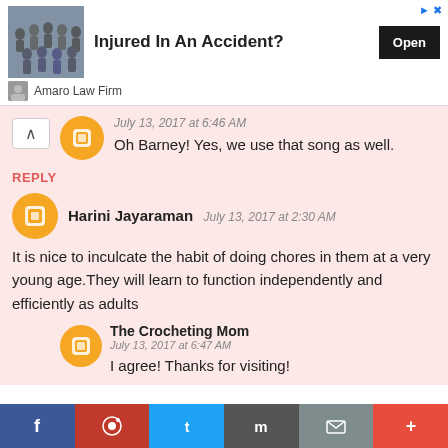[Figure (screenshot): Ad banner: group photo on left, 'Injured In An Accident?' headline, Open button, Amaro Law Firm sponsor row]
July 13, 2017 at 6:46 AM
Oh Barney! Yes, we use that song as well.
REPLY
Harini Jayaraman  July 13, 2017 at 2:30 AM
It is nice to inculcate the habit of doing chores in them at a very young age.They will learn to function independently and efficiently as adults
The Crocheting Mom
July 13, 2017 at 6:47 AM
I agree! Thanks for visiting!
[Figure (screenshot): Social sharing bar with Facebook, Pinterest, Twitter, Mix, Email, and More buttons]